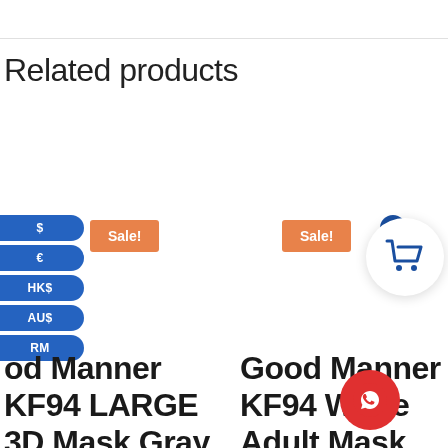Related products
Sale!
Sale!
$
€
HK$
AU$
RM
Good Manner KF94 LARGE 3D Mask Gray 100pcs FREE Shipping
Good Manner KF94 White Adult Mask 200pcs FREE Shipping